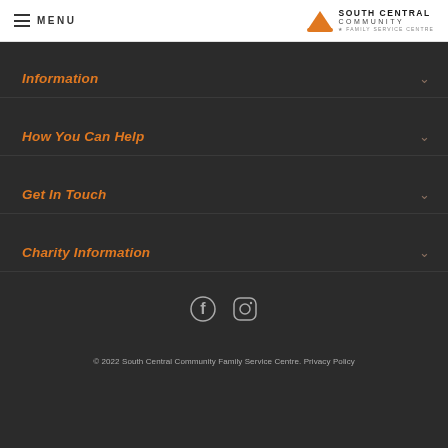MENU | South Central Community Family Service Centre
Information
How You Can Help
Get In Touch
Charity Information
[Figure (infographic): Facebook and Instagram social media icons]
© 2022 South Central Community Family Service Centre. Privacy Policy